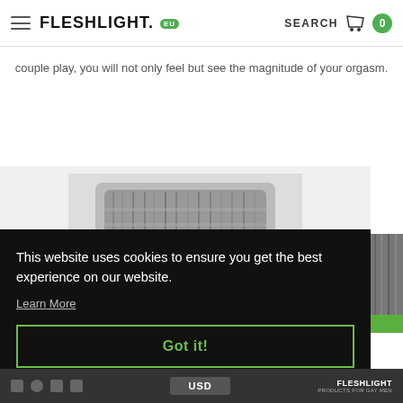FLESHLIGHT .eu  SEARCH  0
couple play, you will not only feel but see the magnitude of your orgasm.
[Figure (photo): Product photo of a Fleshlight device, shown in black and white, partially visible]
This website uses cookies to ensure you get the best experience on our website.
Learn More
Got it!
USD  FLESHLIGHT PRODUCTS FOR GAY MEN